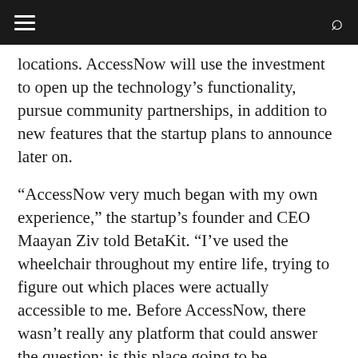locations. AccessNow will use the investment to open up the technology's functionality, pursue community partnerships, in addition to new features that the startup plans to announce later on.
“AccessNow very much began with my own experience,” the startup’s founder and CEO Maayan Ziv told BetaKit. “I’ve used the wheelchair throughout my entire life, trying to figure out which places were actually accessible to me. Before AccessNow, there wasn’t really any platform that could answer the question: is this place going to be accessible?”